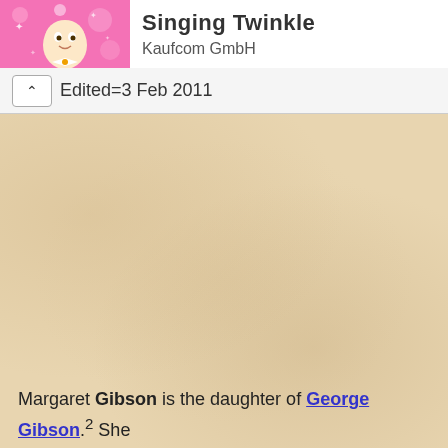[Figure (screenshot): Top bar showing a cartoon character (animated fairy/angel figure) on a pink sparkly background, with app title 'Singing Twinkle' partially visible and publisher 'Kaufcom GmbH']
Kaufcom GmbH
Edited=3 Feb 2011
[Figure (illustration): Parchment-textured beige background filling most of the page]
Margaret Gibson is the daughter of George Gibson.² She